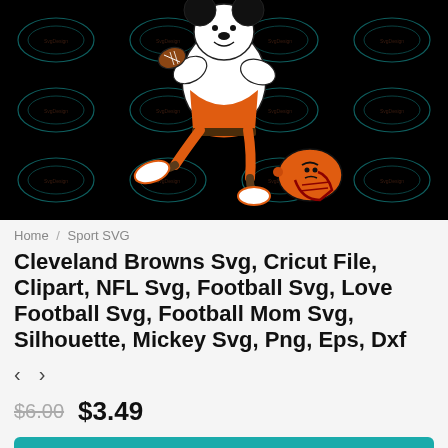[Figure (illustration): Cleveland Browns Mickey Mouse character kicking a football, wearing Browns helmet and uniform, on a black background with repeating teal diamond watermark pattern]
Home / Sport SVG
Cleveland Browns Svg, Cricut File, Clipart, NFL Svg, Football Svg, Love Football Svg, Football Mom Svg, Silhouette, Mickey Svg, Png, Eps, Dxf
< >
$6.00  $3.49